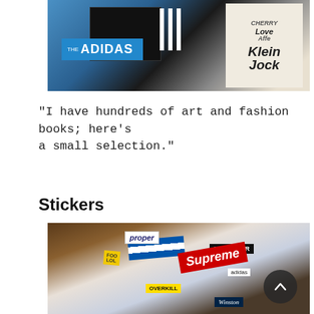[Figure (photo): Photo of art and fashion books on a table, including 'The Adidas' book in a blue box and a sketch-style illustrated book/zine with cartoon-style graphics]
"I have hundreds of art and fashion books; here's a small selection."
Stickers
[Figure (photo): Photo of a collection of stickers spread on a white surface on a wooden table. Stickers include Supreme, Proper, SAPEUR, adidas, Overkill, Winston, and various graphic stickers including dice, face illustrations, and branded items.]